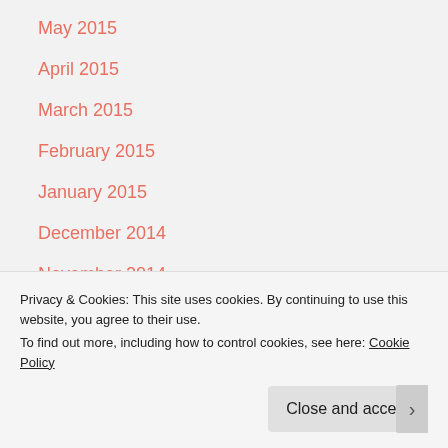May 2015
April 2015
March 2015
February 2015
January 2015
December 2014
November 2014
October 2014
September 2014
August 2014
July 2014
Privacy & Cookies: This site uses cookies. By continuing to use this website, you agree to their use.
To find out more, including how to control cookies, see here: Cookie Policy
Close and accept